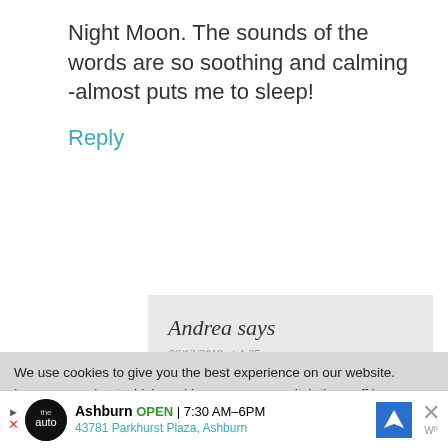Night Moon. The sounds of the words are so soothing and calming -almost puts me to sleep!
Reply
Andrea says
06/12/2019 at 4:25 pm
We use cookies to give you the best experience on our website.
Learn more about which cookies we use, or switch them off in settings.
Accept
Ashburn OPEN | 7:30 AM–6PM
43781 Parkhurst Plaza, Ashburn